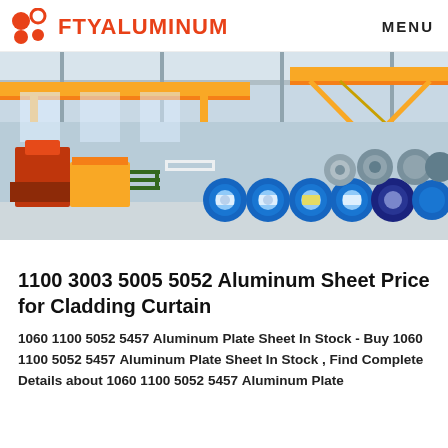[Figure (logo): FTYALUMINUM logo with orange/red icon and text, plus MENU navigation link]
[Figure (photo): Industrial aluminum manufacturing facility interior showing large rolls of aluminum coil wrapped in blue plastic, yellow overhead cranes, and heavy machinery]
1100 3003 5005 5052 Aluminum Sheet Price for Cladding Curtain
1060 1100 5052 5457 Aluminum Plate Sheet In Stock - Buy 1060 1100 5052 5457 Aluminum Plate Sheet In Stock , Find Complete Details about 1060 1100 5052 5457 Aluminum Plate